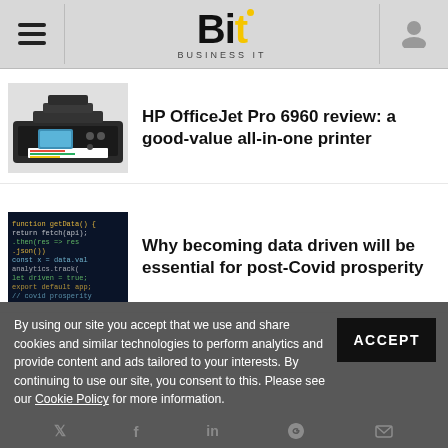Bit Business IT
HP OfficeJet Pro 6960 review: a good-value all-in-one printer
Why becoming data driven will be essential for post-Covid prosperity
By using our site you accept that we use and share cookies and similar technologies to perform analytics and provide content and ads tailored to your interests. By continuing to use our site, you consent to this. Please see our Cookie Policy for more information.